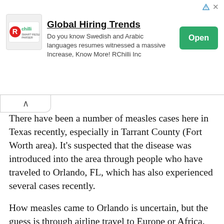[Figure (other): Advertisement banner for RChilli Global Hiring Trends. Logo on left, title 'Global Hiring Trends', ad copy text, and green 'Open' button on right.]
There have been a number of measles cases here in Texas recently, especially in Tarrant County (Fort Worth area). It's suspected that the disease was introduced into the area through people who have traveled to Orlando, FL, which has also experienced several cases recently.
How measles came to Orlando is uncertain, but the guess is through airline travel to Europe or Africa. Another possibility is that Haitian refugees might have brought the disease when they immigrated into the state of Florida following the earthquake.